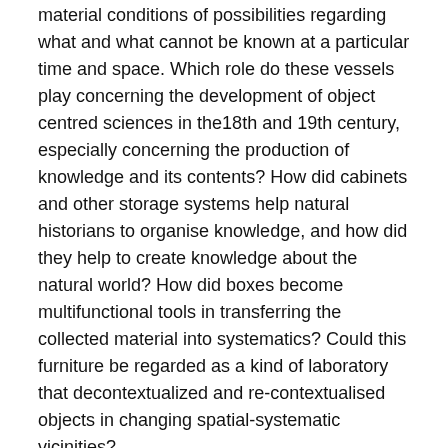material conditions of possibilities regarding what and what cannot be known at a particular time and space. Which role do these vessels play concerning the development of object centred sciences in the18th and 19th century, especially concerning the production of knowledge and its contents? How did cabinets and other storage systems help natural historians to organise knowledge, and how did they help to create knowledge about the natural world? How did boxes become multifunctional tools in transferring the collected material into systematics? Could this furniture be regarded as a kind of laboratory that decontextualized and re-contextualised objects in changing spatial-systematic vicinities?
Networks, actors and objects // Emma Spary, Cambridge University